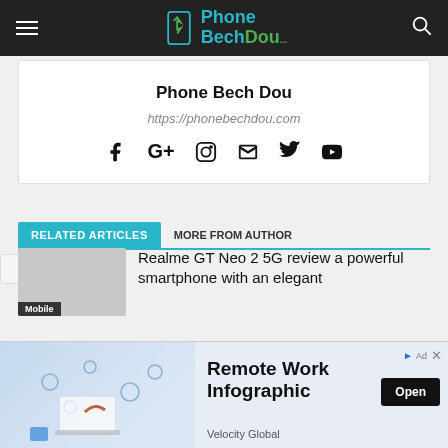Phone Bech Dou - navigation bar
Phone Bech Dou
https://phonebechdou.com
[Figure (infographic): Social media icons: Facebook, Google+, Instagram, Email, Twitter, YouTube]
RELATED ARTICLES   MORE FROM AUTHOR
Realme GT Neo 2 5G review a powerful smartphone with an elegant
[Figure (photo): Thumbnail image for Realme GT Neo 2 5G article with Mobile label]
[Figure (infographic): Advertisement banner: Remote Work Infographic by Velocity Global with Open button]